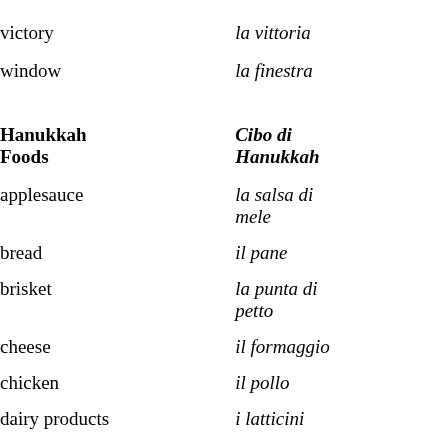victory | la vittoria
window | la finestra
Hanukkah Foods | Cibo di Hanukkah
applesauce | la salsa di mele
bread | il pane
brisket | la punta di petto
cheese | il formaggio
chicken | il pollo
dairy products | i latticini
doughnut | una ciambella
milk | il latte